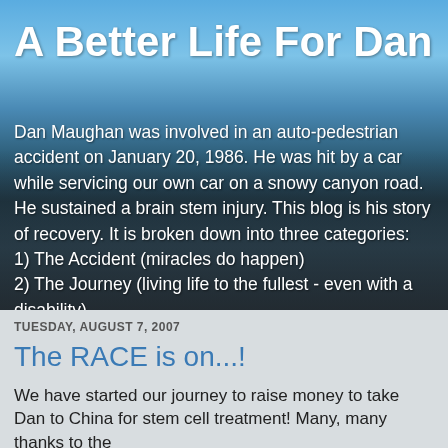A Better Life For Dan
Dan Maughan was involved in an auto-pedestrian accident on January 20, 1986. He was hit by a car while servicing our own car on a snowy canyon road. He sustained a brain stem injury. This blog is his story of recovery. It is broken down into three categories:
1) The Accident (miracles do happen)
2) The Journey (living life to the fullest - even with a disability)
3) The Ascent (still looking for full recovery - after all these years)
TUESDAY, AUGUST 7, 2007
The RACE is on...!
We have started our journey to raise money to take Dan to China for stem cell treatment! Many, many thanks to the